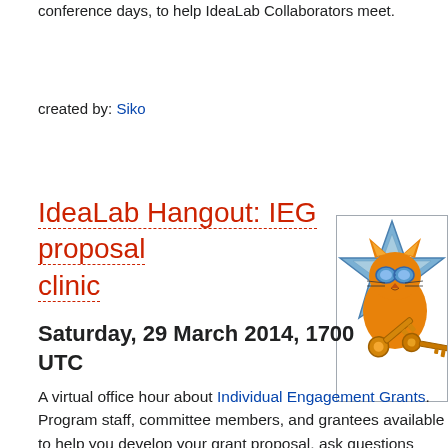conference days, to help IdeaLab Collaborators meet.
created by: Siko
IdeaLab Hangout: IEG proposal clinic
[Figure (illustration): Orange cat wearing sunglasses holding a key, overlaid on a blue star shape — IdeaLab logo]
Saturday, 29 March 2014, 1700 UTC
A virtual office hour about Individual Engagement Grants. Program staff, committee members, and grantees available to help you develop your grant proposal, ask questions about the program and more.